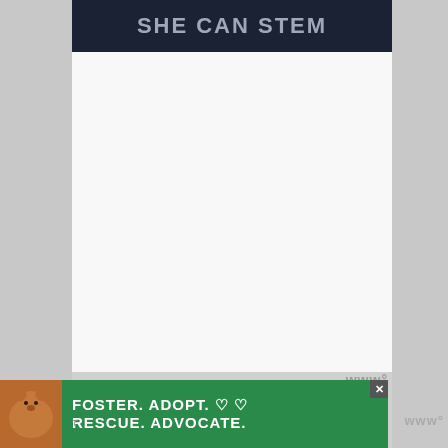SHE CAN STEM
[Figure (other): White/light gray blank content area below the header banner]
www°
[Figure (other): Advertisement banner at bottom: dog image on left, green background with text FOSTER. ADOPT. ♡ ♡ / RESCUE. ADVOCATE. with a close button (x) in top right corner]
www°